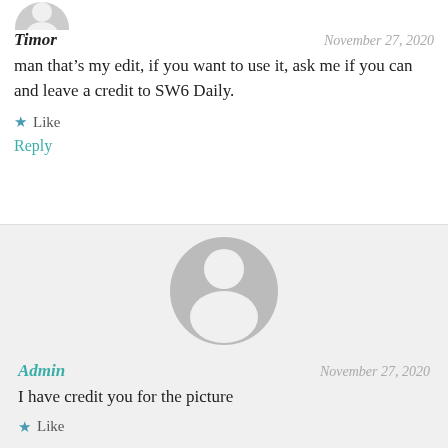[Figure (illustration): Partial circular avatar placeholder at top of page]
Timor
November 27, 2020
man that’s my edit, if you want to use it, ask me if you can and leave a credit to SW6 Daily.
★ Like
Reply
[Figure (illustration): Default user avatar circle with head and body silhouette in grey]
Admin
November 27, 2020
I have credit you for the picture
★ Like